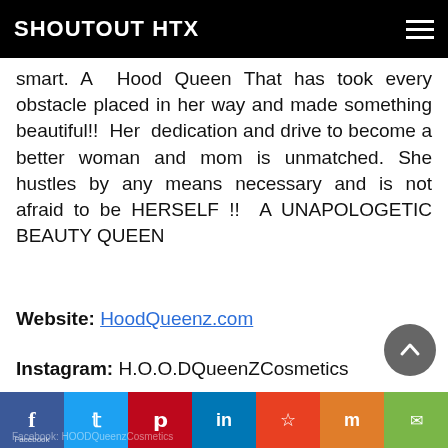SHOUTOUT HTX
smart. A  Hood Queen That has took every obstacle placed in her way and made something beautiful!!  Her  dedication and drive to become a better woman and mom is unmatched. She hustles by any means necessary and is not afraid to be HERSELF !!  A UNAPOLOGETIC BEAUTY QUEEN
Website: HoodQueenz.com
Instagram: H.O.O.DQueenZCosmetics
Twitter: HOODQueenzCosmetics
Facebook HOODQueenzCosmetics (social sharing bar)